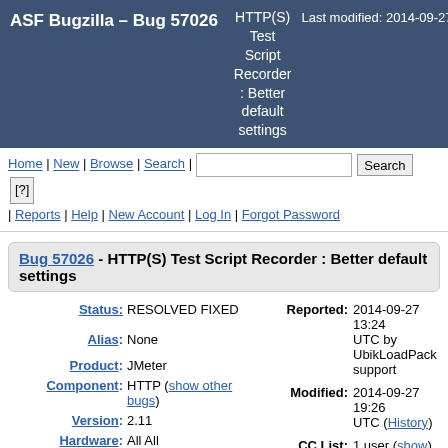ASF Bugzilla – Bug 57026 HTTP(S) Test Script Recorder : Better default settings Last modified: 2014-09-27 19:26:30 U
Home | New | Browse | Search | [search box] Search [?] | Reports | Help | New Account | Log In | Forgot Password
Bug 57026 - HTTP(S) Test Script Recorder : Better default settings
Status: RESOLVED FIXED
Alias: None
Product: JMeter
Component: HTTP (show other bugs)
Version: 2.11
Hardware: All All
Importance: P2 enhancement (vote)
Target
Reported: 2014-09-27 13:24 UTC by UbikLoadPack support
Modified: 2014-09-27 19:26 UTC (History)
CC List: 1 user (show)